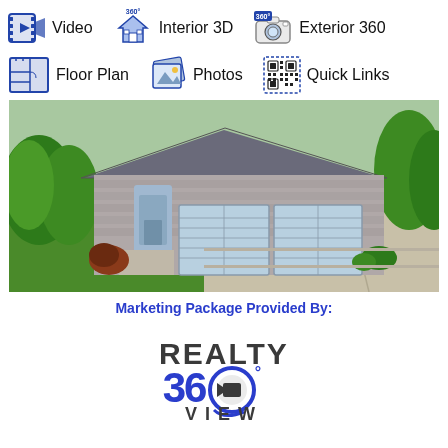[Figure (infographic): Row of icons with labels: Video (film strip/play icon), Interior 3D (360 house icon), Exterior 360 (360 camera icon), Floor Plan (blueprint icon), Photos (photo stack icon), Quick Links (QR code icon)]
[Figure (photo): Exterior photo of a single-story ranch home with stone facade, three-car garage, green lawn, trees, and concrete driveway]
Marketing Package Provided By:
[Figure (logo): Realty 360 View logo with stylized 360 degree camera graphic and blue/grey text]